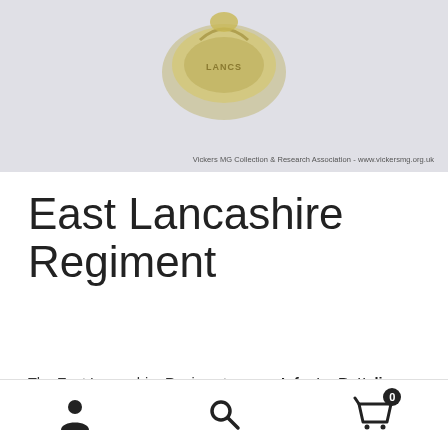[Figure (photo): Photograph of a military cap badge for the East Lancashire Regiment, shown against a light grey background. Watermark text reads: Vickers MG Collection & Research Association - www.vickersmg.org.uk]
East Lancashire Regiment
The East Lancashire Regiment was an Infantry Battalion that would have had an MG Section as part of its Battalion Headquarters.
The Great War